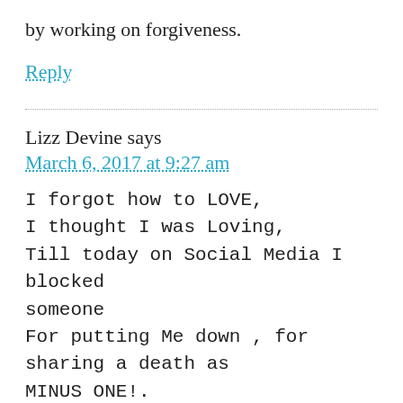by working on forgiveness.
Reply
Lizz Devine says
March 6, 2017 at 9:27 am
I forgot how to LOVE,
I thought I was Loving,
Till today on Social Media I blocked someone
For putting Me down , for sharing a death as MINUS ONE!.
She wrote, why would you say such an awful thing ?